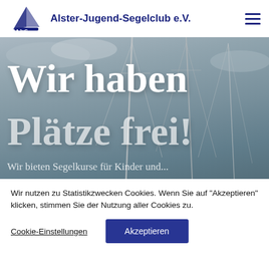Alster-Jugend-Segelclub e.V.
[Figure (screenshot): Hero banner with sailing boat masts in grey sky background]
Wir haben Plätze frei!
Wir bieten Segelkurse für Kinder und...
Wir nutzen zu Statistikzwecken Cookies. Wenn Sie auf "Akzeptieren" klicken, stimmen Sie der Nutzung aller Cookies zu.
Cookie-Einstellungen  Akzeptieren